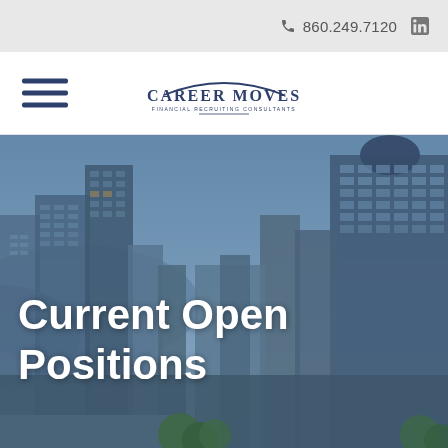860.249.7120
[Figure (logo): Career Moves Financial Recruiting Consultants logo]
[Figure (photo): City skyline with tall buildings under a blue sky, overlaid with bold white text reading 'Current Open Positions']
Current Open Positions